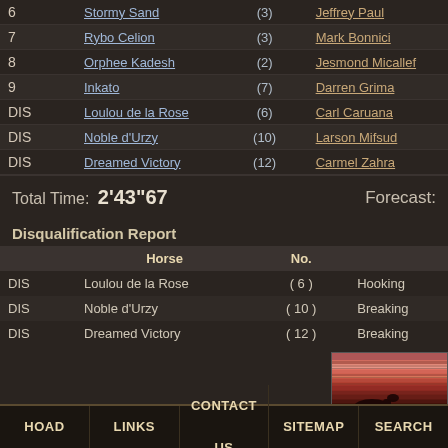|  | Horse | No. |  |
| --- | --- | --- | --- |
| 6 | Stormy Sand | (3) | Jeffrey Paul |
| 7 | Rybo Celion | (3) | Mark Bonnici |
| 8 | Orphee Kadesh | (2) | Jesmond Micallef |
| 9 | Inkato | (7) | Darren Grima |
| DIS | Loulou de la Rose | (6) | Carl Caruana |
| DIS | Noble d'Urzy | (10) | Larson Mifsud |
| DIS | Dreamed Victory | (12) | Carmel Zahra |
Total Time: 2'43"67   Forecast:
Disqualification Report
|  | Horse | No. |  |
| --- | --- | --- | --- |
| DIS | Loulou de la Rose | ( 6 ) | Hooking |
| DIS | Noble d'Urzy | ( 10 ) | Breaking |
| DIS | Dreamed Victory | ( 12 ) | Breaking |
[Figure (photo): Horse racing photo with motion blur, showing a harness racing horse and driver]
Click on the
HOAD  LINKS  CONTACT US  SITEMAP  SEARCH